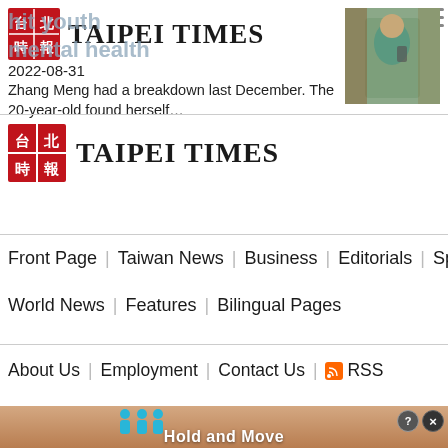TAIPEI TIMES
…hit youth mental health
2022-08-31
Zhang Meng had a breakdown last December. The 20-year-old found herself…
[Figure (photo): Photo of a young woman in teal/green outfit looking at phone outdoors]
[Figure (logo): Taipei Times logo with Chinese character red box and serif text TAIPEI TIMES]
Front Page
Taiwan News
Business
Editorials
Sports
World News
Features
Bilingual Pages
About Us
Employment
Contact Us
RSS
[Figure (infographic): Advertisement banner showing cartoon figures and text 'Hold and Move' with help and close buttons]